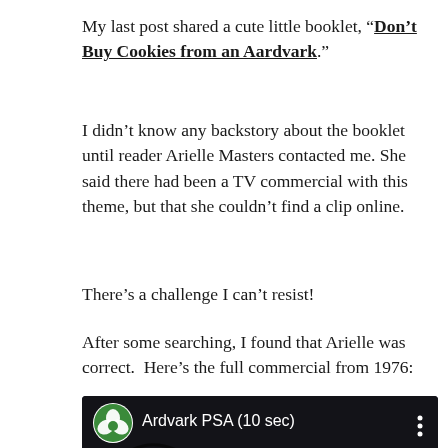My last post shared a cute little booklet, “Don’t Buy Cookies from an Aardvark.”
I didn’t know any backstory about the booklet until reader Arielle Masters contacted me. She said there had been a TV commercial with this theme, but that she couldn’t find a clip online.
There’s a challenge I can’t resist!
After some searching, I found that Arielle was correct.  Here’s the full commercial from 1976:
[Figure (screenshot): YouTube video thumbnail showing ‘Ardvark PSA (10 sec)’ with Girl Scouts logo, red play button, and animated aardvark/cookie background]